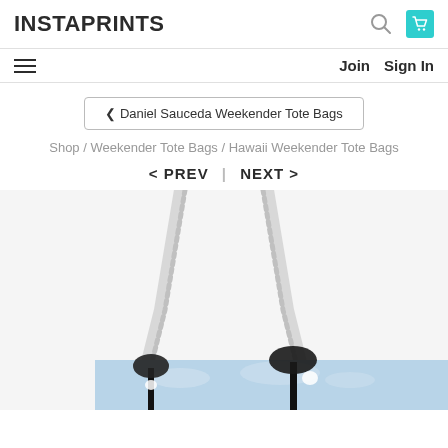INSTAPRINTS
Join   Sign In
< Daniel Sauceda Weekender Tote Bags
Shop / Weekender Tote Bags / Hawaii Weekender Tote Bags
< PREV  |  NEXT >
[Figure (photo): Product photo of a weekender tote bag with rope handles, showing a printed design of palm trees silhouetted against a sky, photographed hanging.]